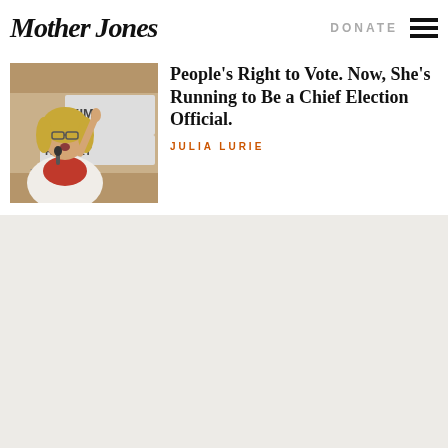Mother Jones
[Figure (photo): Woman with blonde hair speaking at a podium with KIM ROCKET signage in the background, pointing upward with one finger, wearing a white blazer and red top]
People's Right to Vote. Now, She's Running to Be a Chief Election Official.
JULIA LURIE